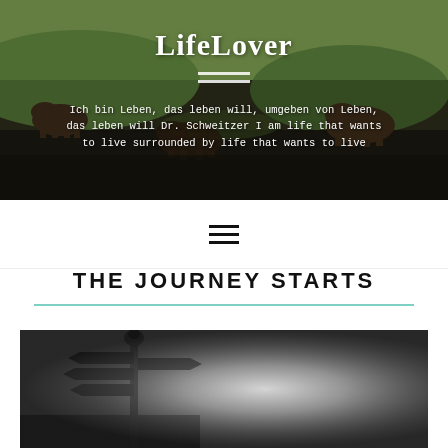[Figure (photo): Header banner image with wildlife animals (wild boars/pigs) on green and dark landscape background]
LifeLover
Ich bin Leben, das leben will, umgeben von Leben, das leben will Dr. Schweitzer I am life that wants to live surrounded by life that wants to live
[Figure (other): Hamburger menu icon (three horizontal lines)]
THE JOURNEY STARTS
[Figure (photo): Black and white photo of a signpost with multiple direction arrows in a misty/foggy landscape]